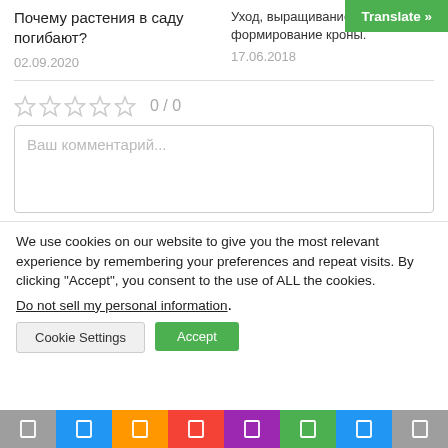Почему растения в саду погибают?
Уход, выращивание, формирование кроны.
[Figure (screenshot): Green Translate button overlay in top right corner]
02.09.2020
17.06.2018
[Figure (other): Five empty star rating icons followed by 0 / 0 rating text]
Ваш комментарий...
We use cookies on our website to give you the most relevant experience by remembering your preferences and repeat visits. By clicking "Accept", you consent to the use of ALL the cookies.
Do not sell my personal information.
Cookie Settings
Accept
[Figure (screenshot): Colorful app navigation bottom bar with icons on colored backgrounds]